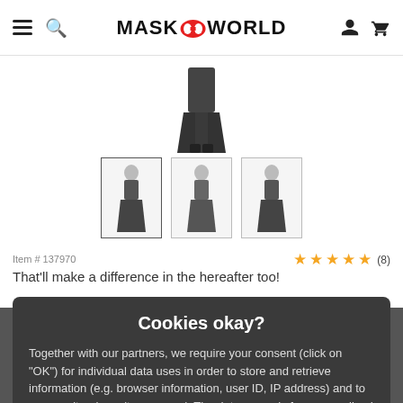MASKWORLD
[Figure (photo): Product image of a dark gothic dress costume, partially visible at top]
[Figure (photo): Three thumbnail images of a gothic costume dress from different angles]
Item # 137970
That'll make a difference in the hereafter too!
39.99 €
incl. shipping
Cookies okay?
Together with our partners, we require your consent (click on "OK") for individual data uses in order to store and retrieve information (e.g. browser information, user ID, IP address) and to process it or have it processed. The data usage is for personalised functionalities, content and ads
OK